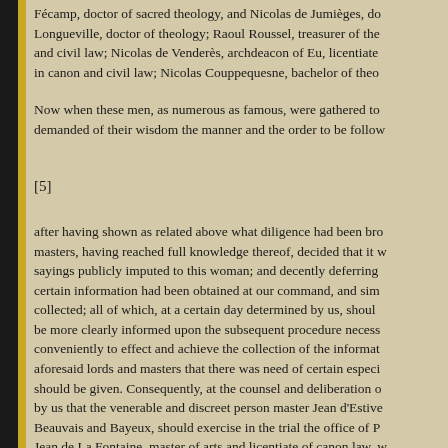Fécamp, doctor of sacred theology, and Nicolas de Jumièges, do Longueville, doctor of theology; Raoul Roussel, treasurer of the and civil law; Nicolas de Venderès, archdeacon of Eu, licentiate in canon and civil law; Nicolas Couppequesne, bachelor of theo
Now when these men, as numerous as famous, were gathered to demanded of their wisdom the manner and the order to be follow
[5]
after having shown as related above what diligence had been bro masters, having reached full knowledge thereof, decided that it w sayings publicly imputed to this woman; and decently deferring certain information had been obtained at our command, and sim collected; all of which, at a certain day determined by us, shoul be more clearly informed upon the subsequent procedure necess conveniently to effect and achieve the collection of the informat aforesaid lords and masters that there was need of certain especi should be given. Consequently, at the counsel and deliberation o by us that the venerable and discreet person master Jean d'Estive Beauvais and Bayeux, should exercise in the trial the office of P Jean de La Fontaine, master of arts and licentiate of canon law, w examiner. To the office of notaries or secretaries were designate Colles, also called Boisguillaume, and Guillaume Manchon, prie authority at the archiepiscopal court of Rouen; and master Jean